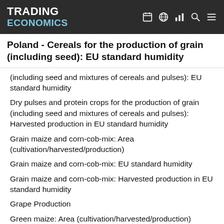TRADING ECONOMICS
Poland - Cereals for the production of grain (including seed): EU standard humidity
(including seed and mixtures of cereals and pulses): EU standard humidity
Dry pulses and protein crops for the production of grain (including seed and mixtures of cereals and pulses): Harvested production in EU standard humidity
Grain maize and corn-cob-mix: Area (cultivation/harvested/production)
Grain maize and corn-cob-mix: EU standard humidity
Grain maize and corn-cob-mix: Harvested production in EU standard humidity
Grape Production
Green maize: Area (cultivation/harvested/production)
Green maize: EU standard humidity
Green maize: Harvested production in EU standard humidity
Gross value added of the agricultural industry: Production value at basic price